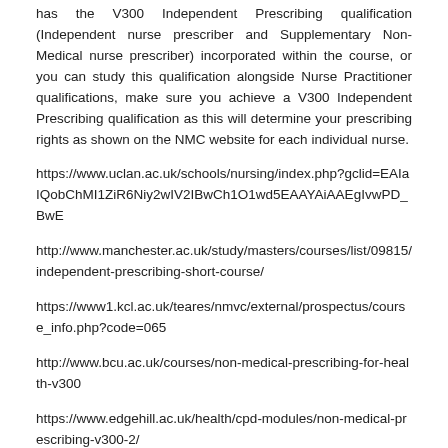has the V300 Independent Prescribing qualification (Independent nurse prescriber and Supplementary Non-Medical nurse prescriber) incorporated within the course, or you can study this qualification alongside Nurse Practitioner qualifications, make sure you achieve a V300 Independent Prescribing qualification as this will determine your prescribing rights as shown on the NMC website for each individual nurse.
https://www.uclan.ac.uk/schools/nursing/index.php?gclid=EAIaIQobChMI1ZiR6Niy2wIV2IBwCh1O1wd5EAAYAiAAEgIvwPD_BwE
http://www.manchester.ac.uk/study/masters/courses/list/09815/independent-prescribing-short-course/
https://www1.kcl.ac.uk/teares/nmvc/external/prospectus/course_info.php?code=065
http://www.bcu.ac.uk/courses/non-medical-prescribing-for-health-v300
https://www.edgehill.ac.uk/health/cpd-modules/non-medical-prescribing-v300-2/